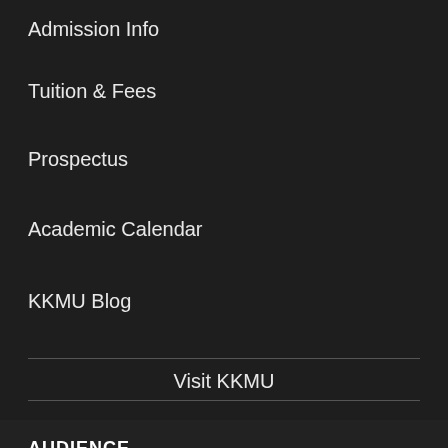Admission Info
Tuition & Fees
Prospectus
Academic Calendar
KKMU Blog
Visit KKMU
AUDIENCE
Students
Parents